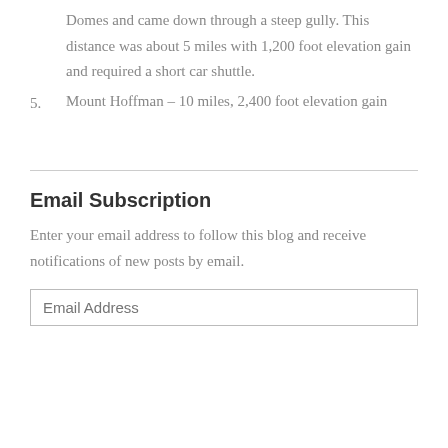Domes and came down through a steep gully. This distance was about 5 miles with 1,200 foot elevation gain and required a short car shuttle.
5. Mount Hoffman – 10 miles, 2,400 foot elevation gain
Email Subscription
Enter your email address to follow this blog and receive notifications of new posts by email.